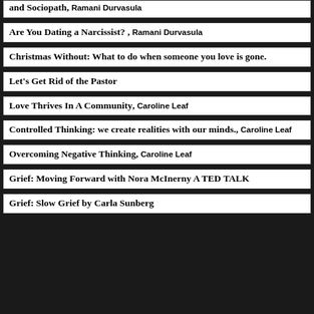and Sociopath, Ramani Durvasula
Are You Dating a Narcissist? , Ramani Durvasula
Christmas Without: What to do when someone you love is gone.
Let's Get Rid of the Pastor
Love Thrives In A Community, Caroline Leaf
Controlled Thinking: we create realities with our minds., Caroline Leaf
Overcoming Negative Thinking, Caroline Leaf
Grief: Moving Forward with Nora McInerny A TED TALK
Grief: Slow Grief by Carla Sunberg